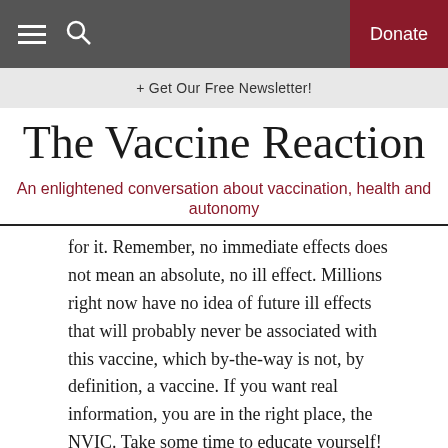≡  🔍   Donate
+ Get Our Free Newsletter!
The Vaccine Reaction
An enlightened conversation about vaccination, health and autonomy
for it. Remember, no immediate effects does not mean an absolute, no ill effect. Millions right now have no idea of future ill effects that will probably never be associated with this vaccine, which by-the-way is not, by definition, a vaccine. If you want real information, you are in the right place, the NVIC. Take some time to educate yourself! My heart goes out to the Zook family, and his wife is probably actually correct because when you work in the healthcare industry, you are mandated to take a vaccine lose your job. Thankfully, this one has not reached that level yet and hopefully, for many it will never. Vaccination, in my opinion, should always be a choice. As for President Trump, I supported him when he was President and I support his efforts now! I believe in the one true God, my Lord and Savior Jesus!